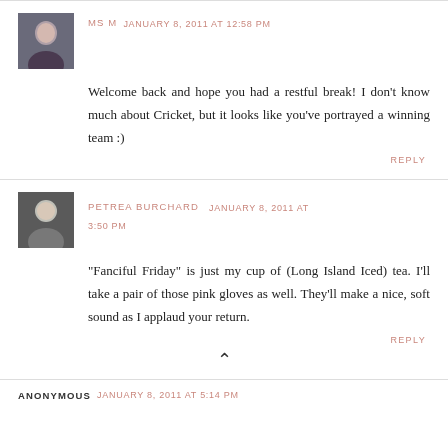MS M  JANUARY 8, 2011 AT 12:58 PM
Welcome back and hope you had a restful break! I don't know much about Cricket, but it looks like you've portrayed a winning team :)
REPLY
PETREA BURCHARD  JANUARY 8, 2011 AT 3:50 PM
"Fanciful Friday" is just my cup of (Long Island Iced) tea. I'll take a pair of those pink gloves as well. They'll make a nice, soft sound as I applaud your return.
REPLY
ANONYMOUS  JANUARY 8, 2011 AT 5:14 PM